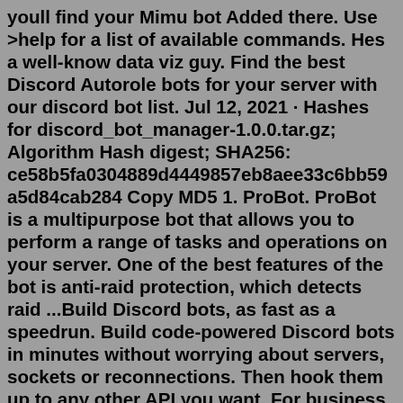youll find your Mimu bot Added there. Use >help for a list of available commands. Hes a well-know data viz guy. Find the best Discord Autorole bots for your server with our discord bot list. Jul 12, 2021 · Hashes for discord_bot_manager-1.0.0.tar.gz; Algorithm Hash digest; SHA256: ce58b5fa0304889d4449857eb8aee33c6bb59a5d84cab284 Copy MD5 1. ProBot. ProBot is a multipurpose bot that allows you to perform a range of tasks and operations on your server. One of the best features of the bot is anti-raid protection, which detects raid ...Build Discord bots, as fast as a speedrun. Build code-powered Discord bots in minutes without worrying about servers, sockets or reconnections. Then hook them up to any other API you want. For business or pleasure. Build and host for free. Watch a demo.Mudae is another top bot on Discord. It has more than 9 million discord servers. It is perfect for manga lovers, video games and anime. If you are one of the anime lovers, this is a perfect fit for your server. Mudae is the best bot for its genre.